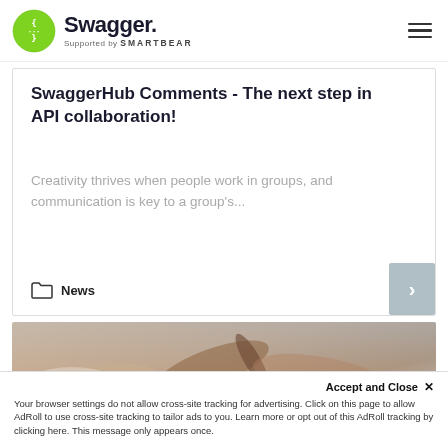Swagger. Supported by SMARTBEAR
SwaggerHub Comments - The next step in API collaboration!
Creativity thrives when people work in groups, and communication is key to a group's...
News
[Figure (photo): Close-up photo of hands writing or working on paper with a pen]
Accept and Close ✕
Your browser settings do not allow cross-site tracking for advertising. Click on this page to allow AdRoll to use cross-site tracking to tailor ads to you. Learn more or opt out of this AdRoll tracking by clicking here. This message only appears once.